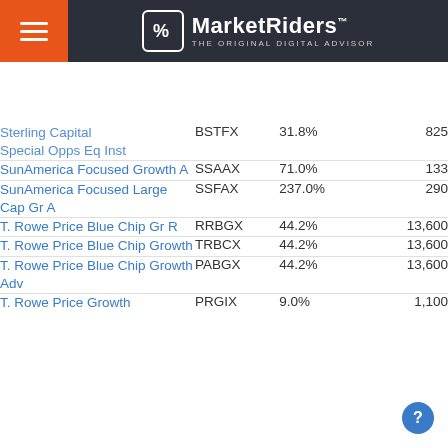MarketRiders — THE ORIGINAL DIGITAL ADVISOR
| Fund Name | Ticker | Return | Count |
| --- | --- | --- | --- |
| Sterling Capital Special Opps Eq Inst | BSTFX | 31.8% | 825 |
| SunAmerica Focused Growth A | SSAAX | 71.0% | 133 |
| SunAmerica Focused Large Cap Gr A | SSFAX | 237.0% | 290 |
| T. Rowe Price Blue Chip Gr R | RRBGX | 44.2% | 13,600 |
| T. Rowe Price Blue Chip Growth | TRBCX | 44.2% | 13,600 |
| T. Rowe Price Blue Chip Growth Adv | PABGX | 44.2% | 13,600 |
| T. Rowe Price Growth | PRGIX | 9.0% | 1,100 |